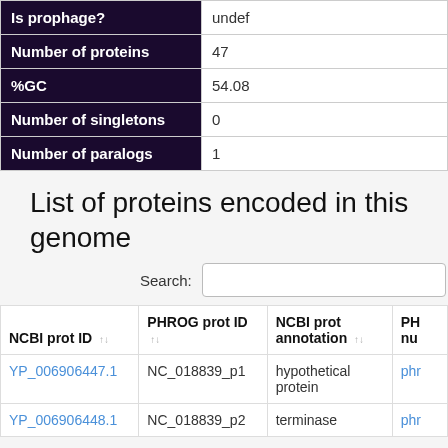| Field | Value |
| --- | --- |
| Is prophage? | undef |
| Number of proteins | 47 |
| %GC | 54.08 |
| Number of singletons | 0 |
| Number of paralogs | 1 |
List of proteins encoded in this genome
Search:
| NCBI prot ID | PHROG prot ID | NCBI prot annotation | PH nu |
| --- | --- | --- | --- |
| YP_006906447.1 | NC_018839_p1 | hypothetical protein | phr |
| YP_006906448.1 | NC_018839_p2 | terminase | phr |